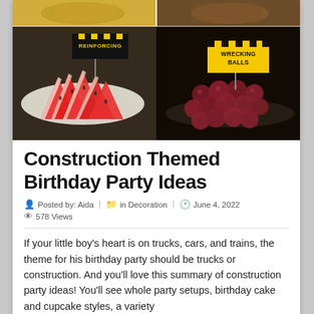[Figure (photo): Photo collage of construction-themed birthday party food: watermelon slices with a 'REINFORCING' sign (left), and red grapes in a bowl with a 'WRECKING BALLS' sign (right). Top portion shows partial food images.]
Construction Themed Birthday Party Ideas
Posted by: Aida   in Decoration   June 4, 2022   578 Views
If your little boy's heart is on trucks, cars, and trains, the theme for his birthday party should be trucks or construction. And you'll love this summary of construction party ideas! You'll see whole party setups, birthday cake and cupcake styles, a variety